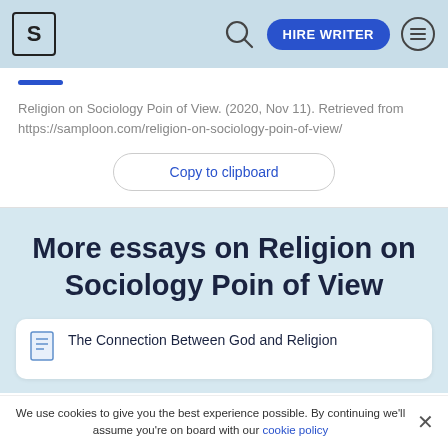S | HIRE WRITER
Religion on Sociology Poin of View. (2020, Nov 11). Retrieved from https://samploon.com/religion-on-sociology-poin-of-view/
Copy to clipboard
More essays on Religion on Sociology Poin of View
The Connection Between God and Religion
We use cookies to give you the best experience possible. By continuing we'll assume you're on board with our cookie policy